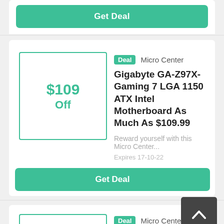Get Deal
Deal  Micro Center
Gigabyte GA-Z97X-Gaming 7 LGA 1150 ATX Intel Motherboard As Much As $109.99
$109 Off
Reward yourself with this Micro Center...
Expires 17-10-22
Get Deal
Deal  Micro Center
$279 Off
4th Gen Intel Core I7-4790K Processor Only $279.99
Enjoy super savings with this...